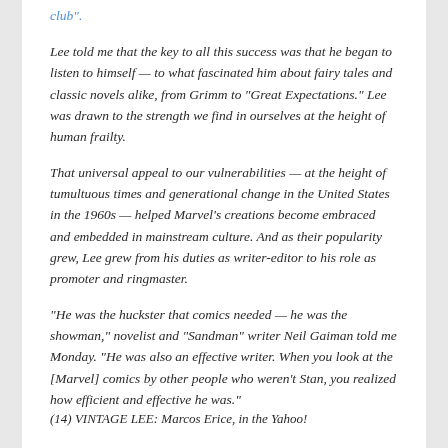club".
Lee told me that the key to all this success was that he began to listen to himself — to what fascinated him about fairy tales and classic novels alike, from Grimm to "Great Expectations." Lee was drawn to the strength we find in ourselves at the height of human frailty.
That universal appeal to our vulnerabilities — at the height of tumultuous times and generational change in the United States in the 1960s — helped Marvel's creations become embraced and embedded in mainstream culture. And as their popularity grew, Lee grew from his duties as writer-editor to his role as promoter and ringmaster.
"He was the huckster that comics needed — he was the showman," novelist and "Sandman" writer Neil Gaiman told me Monday. "He was also an effective writer. When you look at the [Marvel] comics by other people who weren't Stan, you realized how efficient and effective he was."
(14) VINTAGE LEE: Marcos Erice, in the Yahoo!